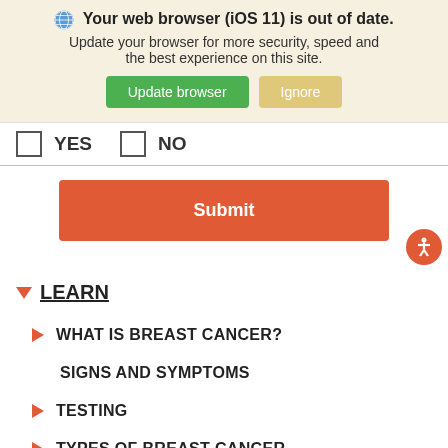[Figure (screenshot): Browser update notification banner with globe icon, bold headline 'Your web browser (iOS 11) is out of date.', subtext 'Update your browser for more security, speed and the best experience on this site.', green 'Update browser' button and tan 'Ignore' button.]
YES   NO (checkbox form row)
[Figure (screenshot): Orange-red Submit button centered on page]
LEARN
WHAT IS BREAST CANCER?
SIGNS AND SYMPTOMS
TESTING
TYPES OF BREAST CANCER
TREATMENTS AND RESEARCH